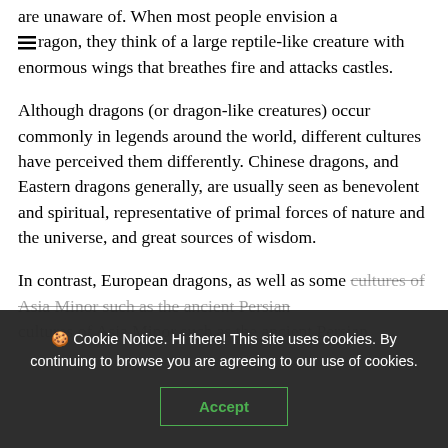are unaware of. When most people envision a dragon, they think of a large reptile-like creature with enormous wings that breathes fire and attacks castles.
Although dragons (or dragon-like creatures) occur commonly in legends around the world, different cultures have perceived them differently. Chinese dragons, and Eastern dragons generally, are usually seen as benevolent and spiritual, representative of primal forces of nature and the universe, and great sources of wisdom.
In contrast, European dragons, as well as some cultures of Asia Minor such as the ancient Persian
🍪 Cookie Notice. Hi there! This site uses cookies. By continuing to browse you are agreeing to our use of cookies.